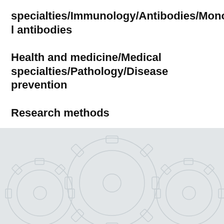specialties/Immunology/Antibodies/Monoclonal antibodies
Health and medicine/Medical specialties/Pathology/Disease prevention
Research methods
[Figure (illustration): Light grey background with faint gear/cog wheel outlines forming a decorative pattern at the bottom of the page]